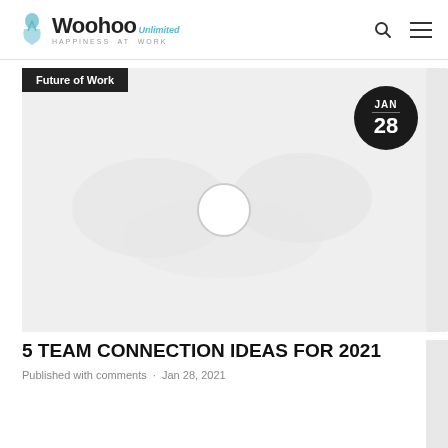Woohoo — HAPPINESS AT WORK
[Figure (screenshot): Blog post featured image placeholder — light gray background with a faint circular play button outline in the center. Overlaid with a dark 'Future of Work' category label top-left and a dark circular date badge showing JAN 28 top-right.]
5 TEAM CONNECTION IDEAS FOR 2021
Published with comments on JAN 28, 2021